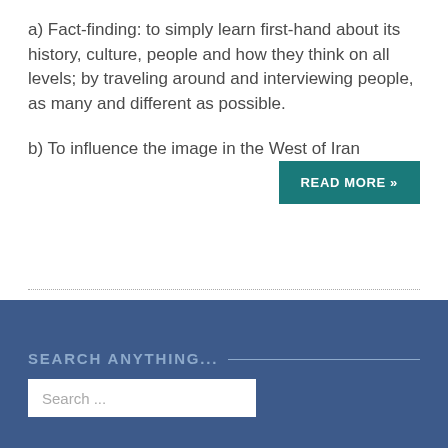a) Fact-finding: to simply learn first-hand about its history, culture, people and how they think on all levels; by traveling around and interviewing people, as many and different as possible.
b) To influence the image in the West of Iran
READ MORE »
SEARCH ANYTHING...
Search ...